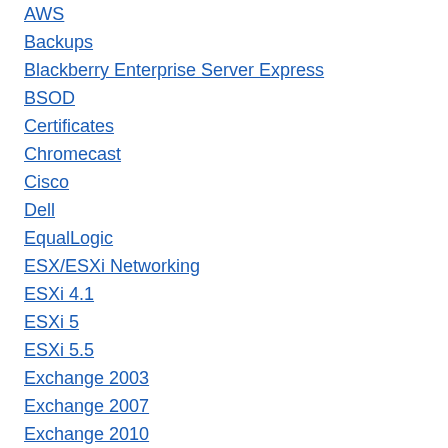AWS
Backups
Blackberry Enterprise Server Express
BSOD
Certificates
Chromecast
Cisco
Dell
EqualLogic
ESX/ESXi Networking
ESXi 4.1
ESXi 5
ESXi 5.5
Exchange 2003
Exchange 2007
Exchange 2010
HP
Hyper-V
Internet Explorer 8